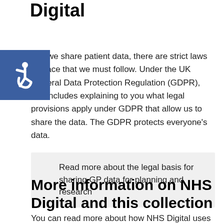Digital
When we share patient data, there are strict laws in place that we must follow. Under the UK General Data Protection Regulation (GDPR), this includes explaining to you what legal provisions apply under GDPR that allow us to share the data. The GDPR protects everyone's data.
Read more about the legal basis for sharing GP data for planning and research
More information on NHS Digital and this collection
You can read more about how NHS Digital uses the